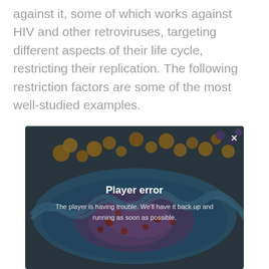against it, some of which works against HIV and other retroviruses, targeting different aspects of their life cycle, restricting their replication. The following restriction factors are some of the most well-studied examples.
[Figure (screenshot): Video player showing a 3D microscopy-style rendering of an HIV virus particle (blue membrane with yellow and purple surface proteins), overlaid with a 'Player error' message: 'The player is having trouble. We'll have it back up and running as soon as possible.' A close (×) button appears in the top-right corner of the player.]